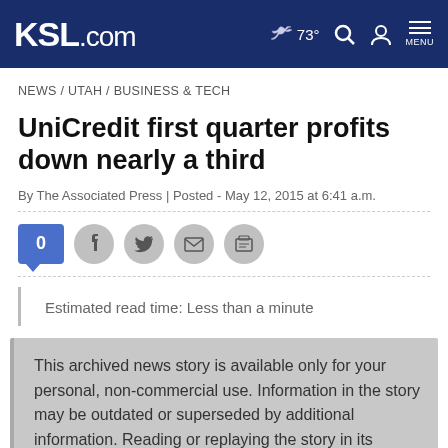KSL.com | 73° MENU
NEWS / UTAH / BUSINESS & TECH
UniCredit first quarter profits down nearly a third
By The Associated Press | Posted - May 12, 2015 at 6:41 a.m.
[Figure (other): Social sharing icons: comment count badge (0), Facebook, Twitter, email, print]
Estimated read time: Less than a minute
This archived news story is available only for your personal, non-commercial use. Information in the story may be outdated or superseded by additional information. Reading or replaying the story in its